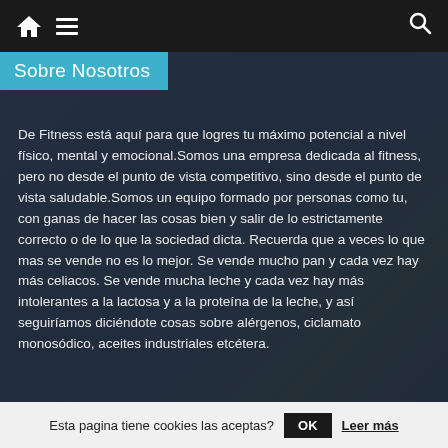Navigation bar with home icon, hamburger menu, and search icon
Sobre Nosotros
De Fitness está aquí para que logres tu máximo potencial a nivel físico, mental y emocional.Somos una empresa dedicada al fitness, pero no desde el punto de vista competitivo, sino desde el punto de vista saludable.Somos un equipo formado por personas como tu, con ganas de hacer las cosas bien y salir de lo estrictamente correcto o de lo que la sociedad dicta. Recuerda que a veces lo que mas se vende no es lo mejor. Se vende mucho pan y cada vez hay más celiacos. Se vende mucha leche y cada vez hay más intolerantes a la lactosa y a la proteína de la leche, y así seguiríamos diciéndote cosas sobre alérgenos, ciclamato monosódico, aceites industriales etcétera.
Esta pagina tiene cookies las aceptas? OK Leer más